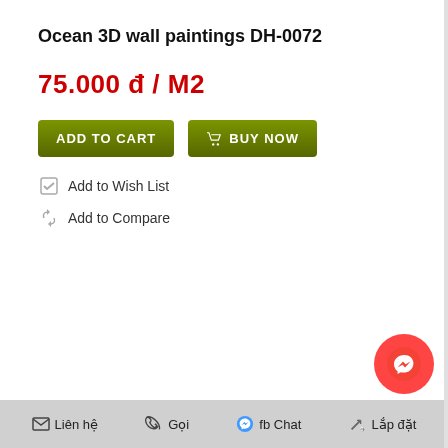Ocean 3D wall paintings DH-0072
75.000 đ / M2
[Figure (other): ADD TO CART and BUY NOW buttons (dark olive/green gradient)]
Add to Wish List
Add to Compare
[Figure (other): Messenger floating button (red circle with messenger icon)]
Liên hệ   Gọi   fb Chat   Lắp đặt